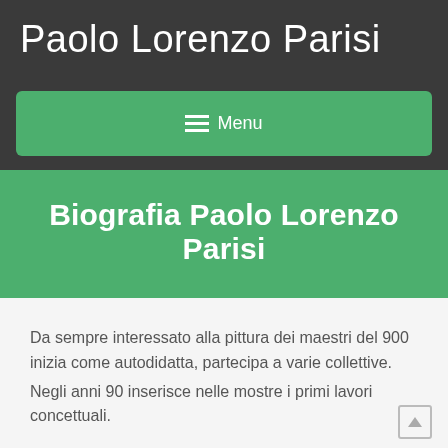Paolo Lorenzo Parisi
≡ Menu
Biografia Paolo Lorenzo Parisi
Da sempre interessato alla pittura dei maestri del 900 inizia come autodidatta, partecipa a varie collettive. Negli anni 90 inserisce nelle mostre i primi lavori concettuali.